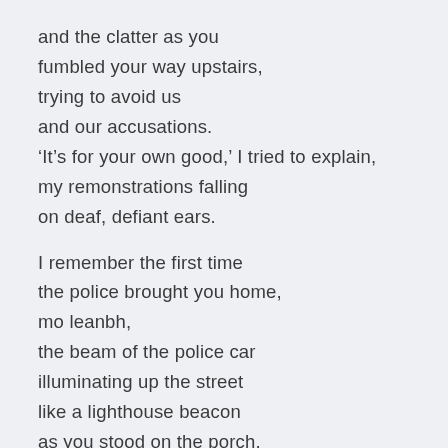and the clatter as you
fumbled your way upstairs,
trying to avoid us
and our accusations.
'It's for your own good,' I tried to explain,
my remonstrations falling
on deaf, defiant ears.

I remember the first time
the police brought you home,
mo leanbh,
the beam of the police car
illuminating up the street
like a lighthouse beacon
as you stood on the porch,
your blue-lit face full of angst
and defiance.